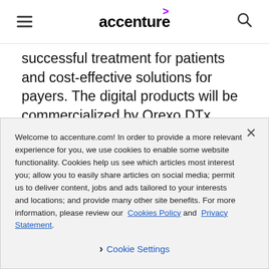accenture navigation bar with hamburger menu and search icon
successful treatment for patients and cost-effective solutions for payers. The digital products will be commercialized by Orexo DTx worldwide, with the U.S. as the principal market, where Orexo also
Welcome to accenture.com! In order to provide a more relevant experience for you, we use cookies to enable some website functionality. Cookies help us see which articles most interest you; allow you to easily share articles on social media; permit us to deliver content, jobs and ads tailored to your interests and locations; and provide many other site benefits. For more information, please review our Cookies Policy and Privacy Statement.
Cookie Settings